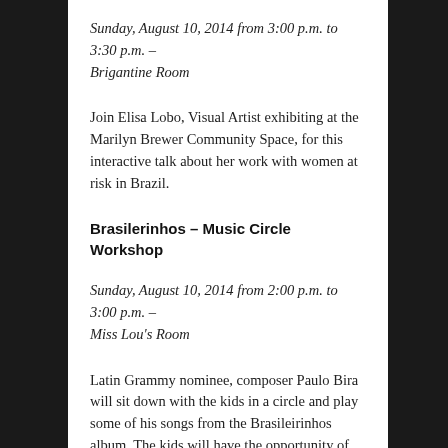Sunday, August 10, 2014 from 3:00 p.m. to 3:30 p.m. – Brigantine Room
Join Elisa Lobo, Visual Artist exhibiting at the Marilyn Brewer Community Space, for this interactive talk about her work with women at risk in Brazil.
Brasilerinhos – Music Circle Workshop
Sunday, August 10, 2014 from 2:00 p.m. to 3:00 p.m. – Miss Lou's Room
Latin Grammy nominee, composer Paulo Bira will sit down with the kids in a circle and play some of his songs from the Brasileirinhos album. The kids will have the opportunity of learning about the exciting animals in Brazil.
Cantigas de Roda Workshop
Sunday, August 10, 2014 from 11:00 a.m. to 12:00